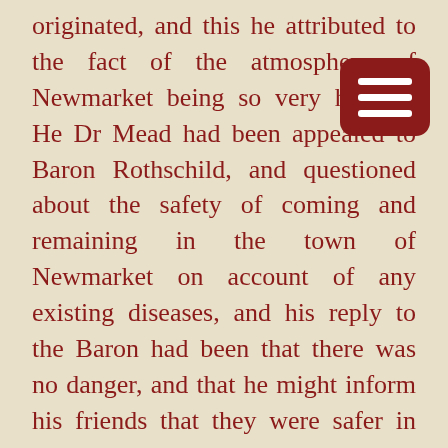originated, and this he attributed to the fact of the atmosphere of Newmarket being so very healthy. He Dr Mead had been appealed to Baron Rothschild, and questioned about the safety of coming and remaining in the town of Newmarket on account of any existing diseases, and his reply to the Baron had been that there was no danger, and that he might inform his friends that they were safer in Newmarket than in London, on account of the purity of the atmosphere, and it was a notorious fact that Newmarket was one of the healthiest places in the world… in all cases of need, he, and Messrs. Faircloth, Fyson and Gamble were unremitting in their attention [indirectly revealing the four practices in 1869, i.e. Mead, Gray, Faircloth, and Fyson & Gamble]… As a proof that cases of